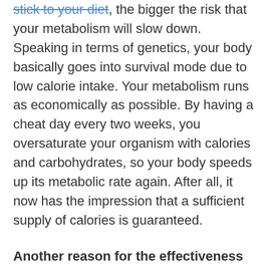stick to your diet, the bigger the risk that your metabolism will slow down. Speaking in terms of genetics, your body basically goes into survival mode due to low calorie intake. Your metabolism runs as economically as possible. By having a cheat day every two weeks, you oversaturate your organism with calories and carbohydrates, so your body speeds up its metabolic rate again. After all, it now has the impression that a sufficient supply of calories is guaranteed.
Another reason for the effectiveness of this approach is psychological. What are you more likely to get through mentally, knowing that you can eat your favorite food again for the first time in a year, or the certainty of eating every two